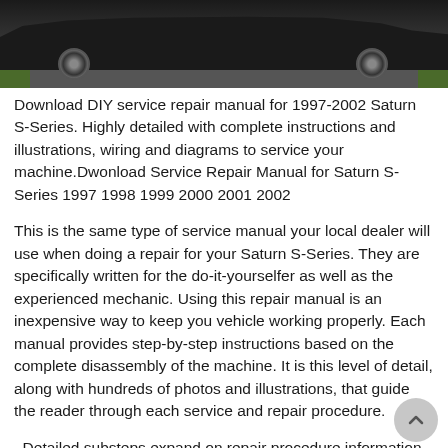[Figure (photo): Photograph of a dark-colored Saturn S-Series car, bottom portion visible showing the front and rear wheels, parked on a road with grass on either side, dark background above.]
Download DIY service repair manual for 1997-2002 Saturn S-Series. Highly detailed with complete instructions and illustrations, wiring and diagrams to service your machine.Dwonload Service Repair Manual for Saturn S-Series 1997 1998 1999 2000 2001 2002
This is the same type of service manual your local dealer will use when doing a repair for your Saturn S-Series. They are specifically written for the do-it-yourselfer as well as the experienced mechanic. Using this repair manual is an inexpensive way to keep you vehicle working properly. Each manual provides step-by-step instructions based on the complete disassembly of the machine. It is this level of detail, along with hundreds of photos and illustrations, that guide the reader through each service and repair procedure.
. Detailed substeps expand on repair procedure information
. Notes, cautions and warnings throughout each chapter pinpoint